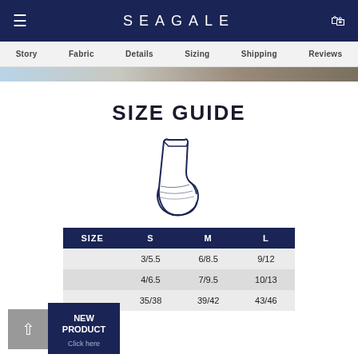SEAGALE
Story  Fabric  Details  Sizing  Shipping  Reviews
SIZE GUIDE
[Figure (illustration): Line drawing illustration of an ankle sock]
| SIZE | S | M | L |
| --- | --- | --- | --- |
|  | 3/5.5 | 6/8.5 | 9/12 |
|  | 4/6.5 | 7/9.5 | 10/13 |
|  | 35/38 | 39/42 | 43/46 |